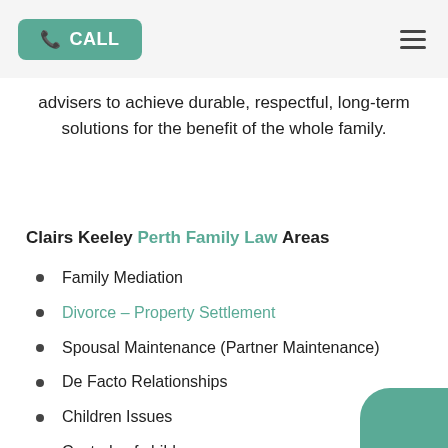CALL
advisers to achieve durable, respectful, long-term solutions for the benefit of the whole family.
Clairs Keeley Perth Family Law Areas
Family Mediation
Divorce – Property Settlement
Spousal Maintenance (Partner Maintenance)
De Facto Relationships
Children Issues
Custody of children
Child Support